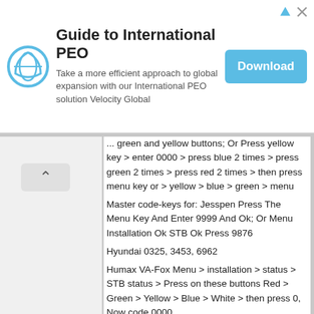[Figure (infographic): Advertisement banner for Guide to International PEO by Velocity Global, with logo, text, and Download button]
... blue 2 times > press green 2 times > press red 2 times > then press menu key or > yellow > blue > green > menu
Master code-keys for: Jesspen Press The Menu Key And Enter 9999 And Ok; Or Menu Installation Ok STB Ok Press 9876
Hyundai 0325, 3453, 6962
Humax VA-Fox Menu > installation > status > STB status > Press on these buttons Red > Green > Yellow > Blue > White > then press 0, Now code 0000
Humax VA-Ace 0325, 6962
Humax F2-Ace Red > Green > Yellow > Blue > Yellow > Green > Red
Humax F1-CI Menu > status > STB Status > ok > press UP button at the front panel > I > press the button contain ( ? )>press yellow button > exit. Now